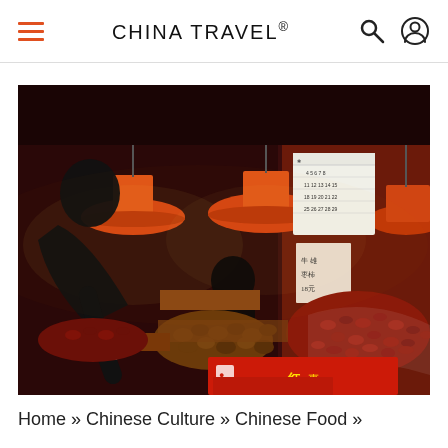CHINA TRAVEL®
[Figure (photo): A Chinese street market vendor at night, bending over stalls filled with red dates (jujubes), chestnuts, and other dried fruits/nuts. Orange-red pendant lamps hang overhead illuminating the produce. A red box with Chinese characters is in the foreground. A calendar and Chinese signage are visible in the background.]
Home » Chinese Culture » Chinese Food »